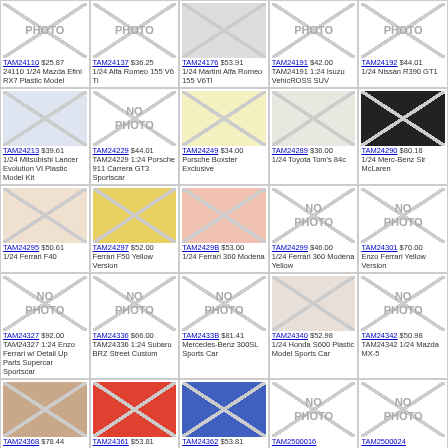| TAM24110 $25.87 24110 1/24 Mazda Efini RX7 Plastic Model | TAM24137 $36.25 1/24 Alfa Romeo 155 V6 Ti | TAM24176 $53.91 1/24 Martini Alfa Romeo 155 V6TI | TAM24191 $42.00 TAM24191 1:24 Isuzu VehicROSS SUV | TAM24192 $44.01 1/24 Nissan R390 GT1 |
| TAM24213 $39.61 1/24 Mitsubishi Lancer Evolution VI Plastic Model Kit | TAM24229 $44.01 TAM24229 1:24 Porsche 911 Carrera GT3 Sportscar | TAM24249 $34.00 Porsche Boxster Exclusive | TAM24289 $36.00 1/24 Toyota Tom's 84c | TAM24290 $80.18 1/24 Merc-Benz SLr McLaren |
| TAM24295 $50.61 1/24 Ferrari F40 | TAM24297 $52.00 Ferrari F50 Yellow Version | TAM2429B $53.00 1/24 Ferrari 360 Modena | TAM24299 $46.00 1/24 Ferrari 360 Modena Yellow | TAM24301 $70.00 Enzo Ferrari Yellow Version |
| TAM24327 $92.00 TAM24327 1:24 Enzo Ferrari w/ Detail Up Parts Supercar Sportscar | TAM24336 $66.00 TAM24336 1:24 Subaru BRZ Street Custom | TAM2433B $81.41 Mercedes-Benz 300SL Sports Car | TAM24340 $52.98 1/24 Honda S600 Plastic Model Sports Car | TAM24342 $50.98 TAM24342 1/24 Mazda MX-5 |
| TAM24368 $78.44 | TAM24361 $53.81 | TAM24362 $53.81 | TAM2500016 $1.82 | TAM2500024 |